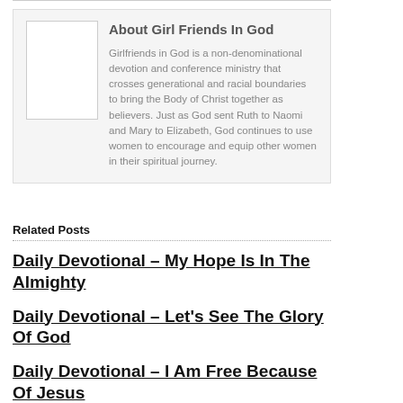[Figure (other): About Girl Friends In God box with placeholder image, bold title, and descriptive text about Girlfriends in God ministry]
Related Posts
Daily Devotional – My Hope Is In The Almighty
Daily Devotional – Let's See The Glory Of God
Daily Devotional – I Am Free Because Of Jesus